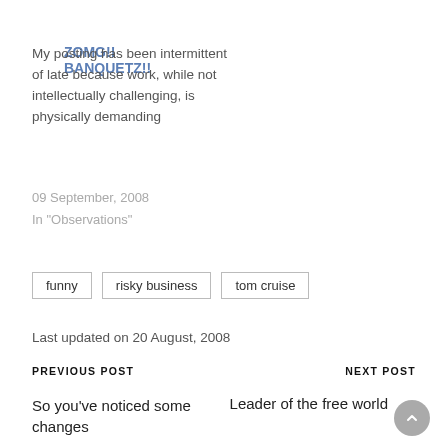ZOMG!! BANQUETZ!!
My posting has been intermittent of late because work, while not intellectually challenging, is physically demanding
09 September, 2008
In "Observations"
funny
risky business
tom cruise
Last updated on 20 August, 2008
PREVIOUS POST
NEXT POST
So you've noticed some changes
Leader of the free world